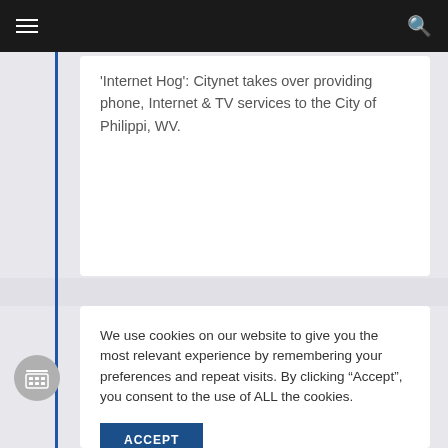Navigation bar with hamburger menu and search icon
Internet Hog: Citynet takes over providing phone, Internet & TV services to the City of Philippi, WV.
We use cookies on our website to give you the most relevant experience by remembering your preferences and repeat visits. By clicking “Accept”, you consent to the use of ALL the cookies.
ACCEPT
called "GigaPort; making